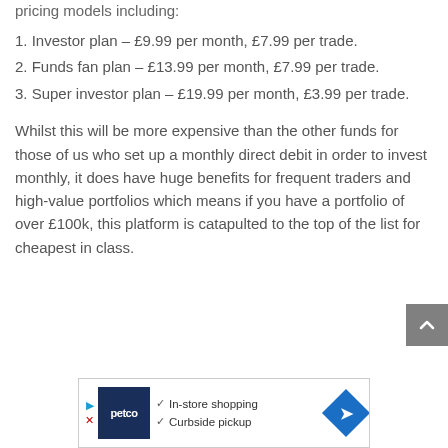pricing models including:
1. Investor plan – £9.99 per month, £7.99 per trade.
2. Funds fan plan – £13.99 per month, £7.99 per trade.
3. Super investor plan – £19.99 per month, £3.99 per trade.
Whilst this will be more expensive than the other funds for those of us who set up a monthly direct debit in order to invest monthly, it does have huge benefits for frequent traders and high-value portfolios which means if you have a portfolio of over £100k, this platform is catapulted to the top of the list for cheapest in class.
[Figure (other): Advertisement banner for Petco showing in-store shopping and curbside pickup options with logo and navigation icon]